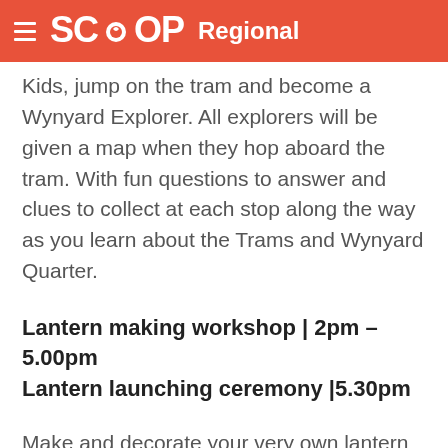SCOOP Regional
Kids, jump on the tram and become a Wynyard Explorer. All explorers will be given a map when they hop aboard the tram. With fun questions to answer and clues to collect at each stop along the way as you learn about the Trams and Wynyard Quarter.
Lantern making workshop | 2pm – 5.00pm
Lantern launching ceremony |5.30pm
Make and decorate your very own lantern and launch it from the Tidal Steps with a special lantern launching ceremony at dusk.
Silo Cinema | 6pm